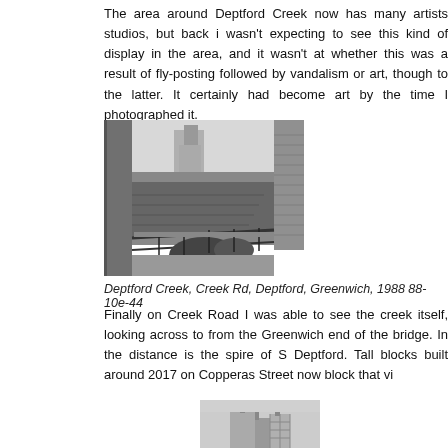The area around Deptford Creek now has many artists studios, but back i wasn't expecting to see this kind of display in the area, and it wasn't at whether this was a result of fly-posting followed by vandalism or art, though to the latter. It certainly had become art by the time I photographed it.
[Figure (photo): Black and white photograph of Deptford Creek waterway viewed from a bridge, with industrial structures in the background and brick pillars on the right]
Deptford Creek, Creek Rd, Deptford, Greenwich, 1988 88-10e-44
Finally on Creek Road I was able to see the creek itself, looking across to from the Greenwich end of the bridge. In the distance is the spire of S Deptford. Tall blocks built around 2017 on Copperas Street now block that vi
[Figure (photo): Black and white photograph showing industrial buildings with chimneys and scaffolding]